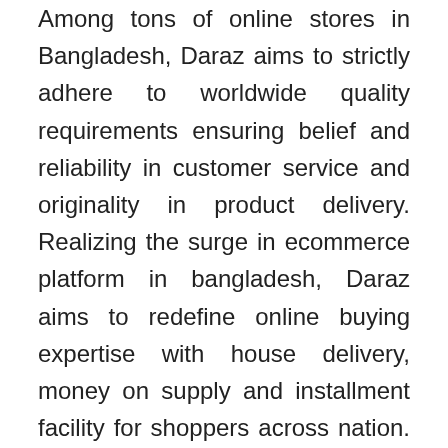Among tons of online stores in Bangladesh, Daraz aims to strictly adhere to worldwide quality requirements ensuring belief and reliability in customer service and originality in product delivery. Realizing the surge in ecommerce platform in bangladesh, Daraz aims to redefine online buying expertise with house delivery, money on supply and installment facility for shoppers across nation. Our assortment consists of 100% unique products from main electronics, trend, magnificence, and way of life brands. Especially for consumers who do not have debit cards or bank cards, Daraz offers a facility of online purchasing with cash on